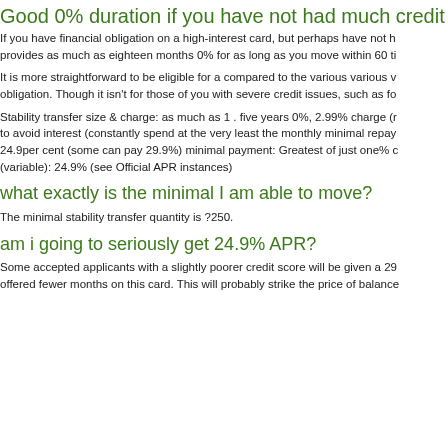Good 0% duration if you have not had much credit
If you have financial obligation on a high-interest card, but perhaps have not h provides as much as eighteen months 0% for as long as you move within 60 ti
It is more straightforward to be eligible for a compared to the various various v obligation. Though it isn't for those of you with severe credit issues, such as fo
Stability transfer size & charge: as much as 1 . five years 0%, 2.99% charge (r to avoid interest (constantly spend at the very least the monthly minimal repay 24.9per cent (some can pay 29.9%) minimal payment: Greatest of just one% c (variable): 24.9% (see Official APR instances)
what exactly is the minimal I am able to move?
The minimal stability transfer quantity is ?250.
am i going to seriously get 24.9% APR?
Some accepted applicants with a slightly poorer credit score will be given a 29 offered fewer months on this card. This will probably strike the price of balance